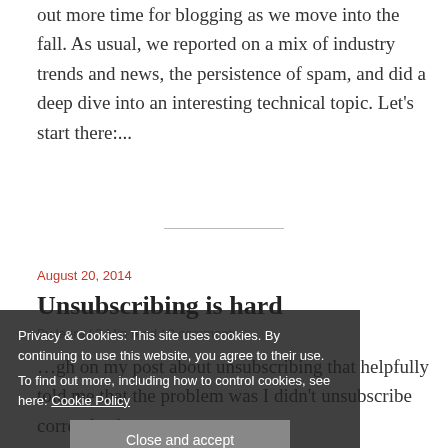out more time for blogging as we move into the fall. As usual, we reported on a mix of industry trends and news, the persistence of spam, and did a deep dive into an interesting technical topic. Let's start there:...
August 20, 2014
Unsubscribing is hard
By laura / 3 Min read / 8 comments
... enough on my post about unsubscribing that helpfully told me that the problem was I didn't unsubscribe correctly. As
Privacy & Cookies: This site uses cookies. By continuing to use this website, you agree to their use. To find out more, including how to control cookies, see here: Cookie Policy
Close and accept